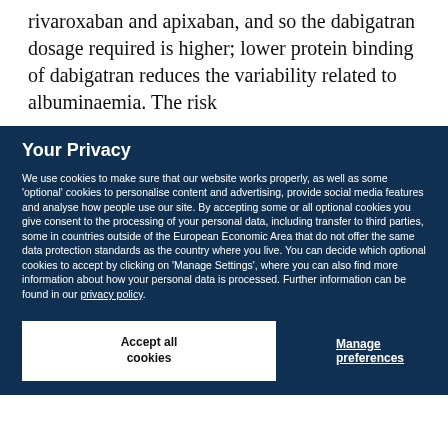rivaroxaban and apixaban, and so the dabigatran dosage required is higher; lower protein binding of dabigatran reduces the variability related to albuminaemia. The risk
Your Privacy
We use cookies to make sure that our website works properly, as well as some 'optional' cookies to personalise content and advertising, provide social media features and analyse how people use our site. By accepting some or all optional cookies you give consent to the processing of your personal data, including transfer to third parties, some in countries outside of the European Economic Area that do not offer the same data protection standards as the country where you live. You can decide which optional cookies to accept by clicking on 'Manage Settings', where you can also find more information about how your personal data is processed. Further information can be found in our privacy policy.
Accept all cookies
Manage preferences